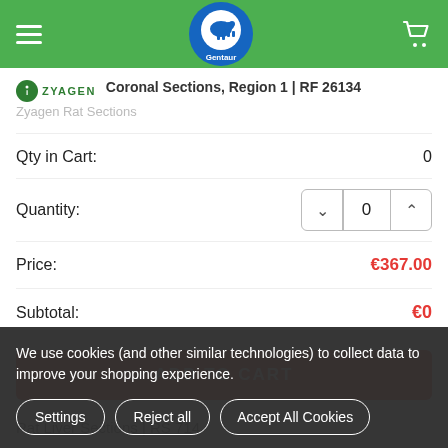Gentaur - navigation header with logo
Coronal Sections, Region 1 | RF 26134
Zyagen Rat Sections
Qty in Cart: 0
Quantity: 0
Price: €367.00
Subtotal: €0
ADD TO CART
Rat Liver Sections | RS 714
We use cookies (and other similar technologies) to collect data to improve your shopping experience.
Settings
Reject all
Accept All Cookies